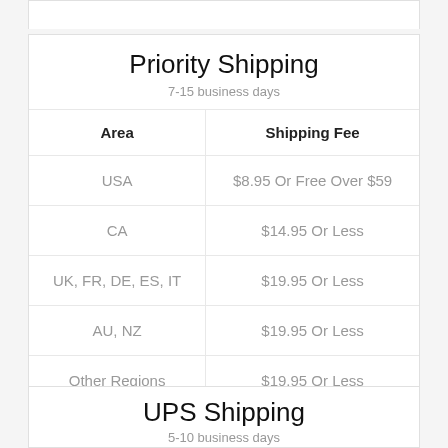| Area | Shipping Fee |
| --- | --- |
| USA | $8.95 Or Free Over $59 |
| CA | $14.95 Or Less |
| UK, FR, DE, ES, IT | $19.95 Or Less |
| AU, NZ | $19.95 Or Less |
| Other Regions | $19.95 Or Less |
UPS Shipping
5-10 business days